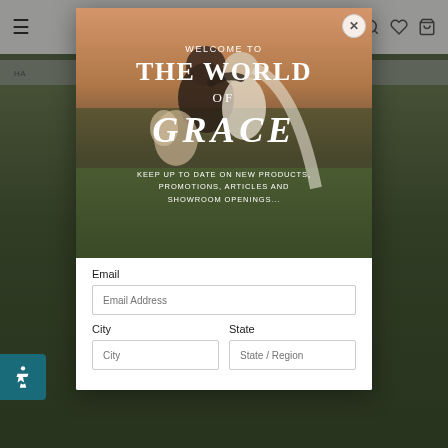[Figure (screenshot): Website screenshot showing a modal popup overlay on a wedding/bridal website. The modal contains a couple embracing in a field at sunset as background photo, with text 'WELCOME TO THE WORLD OF GRACE' and a newsletter signup form with Email, City, and State/Region fields. A close button (X) is in the top right of the modal. An accessibility badge is in the bottom left. The background shows a navigation bar and a grassy outdoor scene.]
WELCOME TO THE WORLD OF GRACE
KEEP UP TO DATE ON NEW PRODUCTS, PROMOTIONS, ARTICLES AND SHOWROOM OPENINGS...
Email
Email Address
City
State
City
State / Region